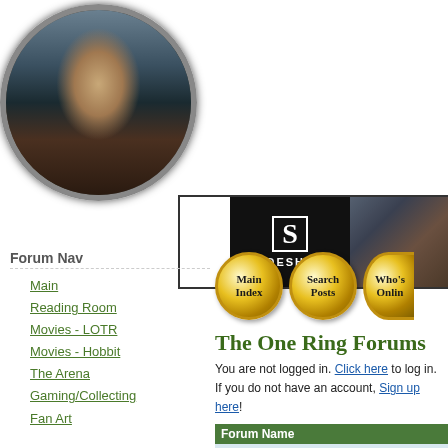[Figure (photo): Circular framed photo of Frodo Baggins (Elijah Wood) from Lord of the Rings, against a rocky mountain background]
[Figure (screenshot): Sideshow collectibles banner advertisement with black background, white S logo and SIDESHOW text, with LOTR character images]
Forum Nav
Main
Reading Room
Movies - LOTR
Movies - Hobbit
The Arena
Gaming/Collecting
Fan Art
TORn Nav
Home
[Figure (screenshot): Three gold circular navigation buttons: Main Index, Search Posts, Who's Online]
The One Ring Forums
You are not logged in. Click here to log in.
If you do not have an account, Sign up here!
| Forum Name |
| --- |
| Welcome to TORN! |
| Welcome | -- START HERE! --- Rules, FAQ & more forum i |